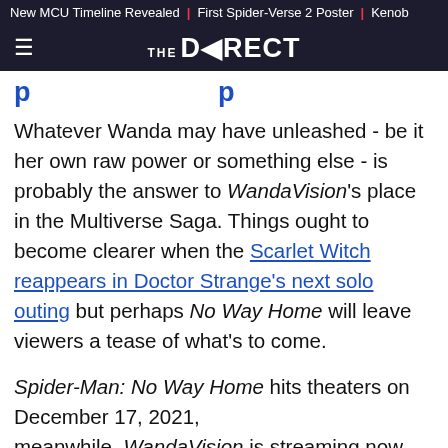New MCU Timeline Revealed | First Spider-Verse 2 Poster | Kenob
THE DIRECT
Whatever Wanda may have unleashed - be it her own raw power or something else - is probably the answer to WandaVision's place in the Multiverse Saga. Things ought to become clearer when the Scarlet Witch reappears in Doctor Strange's next solo outing but perhaps No Way Home will leave viewers a tease of what's to come.
Spider-Man: No Way Home hits theaters on December 17, 2021, meanwhile, WandaVision is streaming now,